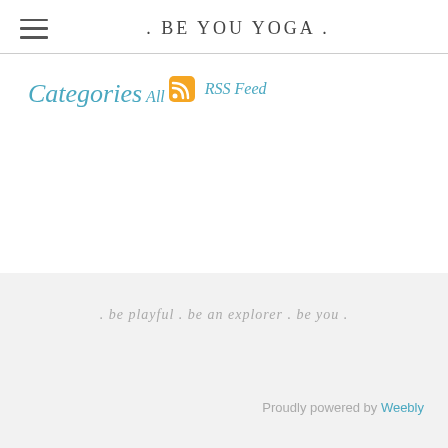. BE YOU YOGA .
Categories
All
RSS Feed
. be playful . be an explorer . be you .
Proudly powered by Weebly